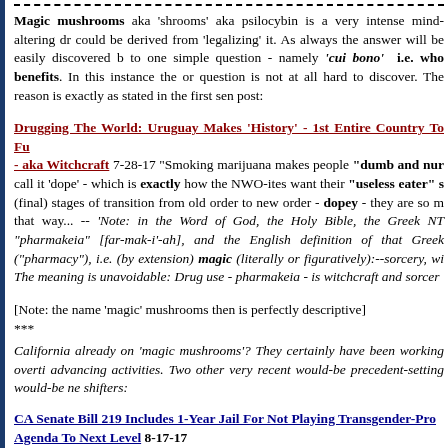---------------------------------------------------------------------------------------------------
Magic mushrooms aka 'shrooms' aka psilocybin is a very intense mind-altering dr could be derived from 'legalizing' it. As always the answer will be easily discovered b to one simple question - namely 'cui bono' i.e. who benefits. In this instance the or question is not at all hard to discover. The reason is exactly as stated in the first sen post:
Drugging The World: Uruguay Makes 'History' - 1st Entire Country To Fu - aka Witchcraft 7-28-17 "Smoking marijuana makes people "dumb and nur call it 'dope' - which is exactly how the NWO-ites want their "useless eater" s (final) stages of transition from old order to new order - dopey - they are so m that way... -- 'Note: in the Word of God, the Holy Bible, the Greek NT "pharmakeia" [far-mak-i'-ah], and the English definition of that Greek ("pharmacy"), i.e. (by extension) magic (literally or figuratively):--sorcery, wi The meaning is unavoidable: Drug use - pharmakeia - is witchcraft and sorcer
[Note: the name 'magic' mushrooms then is perfectly descriptive]
***
California already on 'magic mushrooms'? They certainly have been working overti advancing activities. Two other very recent would-be precedent-setting would-be ne shifters:
CA Senate Bill 219 Includes 1-Year Jail For Not Playing Transgender-Pro Agenda To Next Level 8-17-17